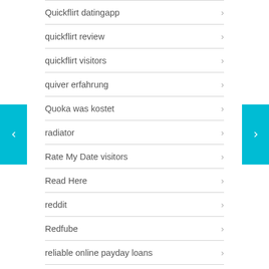Quickflirt datingapp
quickflirt review
quickflirt visitors
quiver erfahrung
Quoka was kostet
radiator
Rate My Date visitors
Read Here
reddit
Redfube
reliable online payday loans